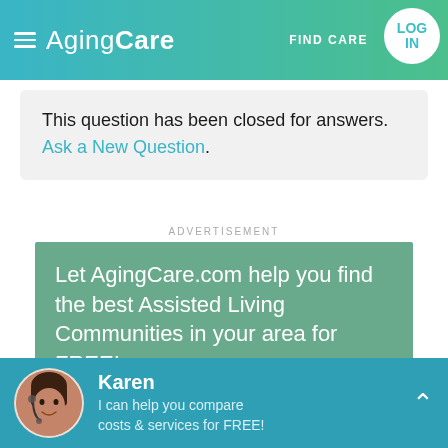AgingCare — FIND CARE — LOG IN
This question has been closed for answers. Ask a New Question.
ADVERTISEMENT
[Figure (infographic): AgingCare advertisement banner with teal/green background. Text reads: Let AgingCare.com help you find the best Assisted Living Communities in your area for FREE!]
Karen
I can help you compare costs & services for FREE!